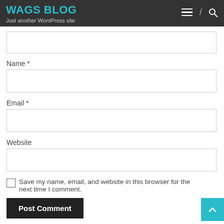WAGS BLOG
Just another WordPress site
[Figure (screenshot): Partially visible comment textarea at top of form]
Name *
[Figure (screenshot): Name input field (empty text box)]
Email *
[Figure (screenshot): Email input field (empty text box)]
Website
[Figure (screenshot): Website input field (empty text box)]
Save my name, email, and website in this browser for the next time I comment.
Post Comment